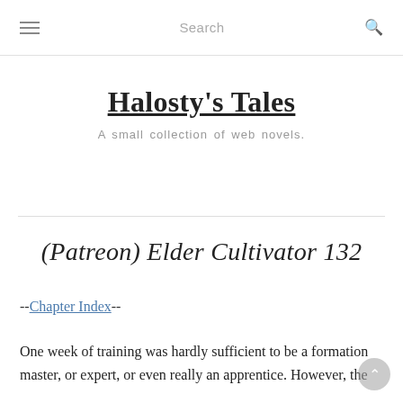Search
Halosty's Tales
A small collection of web novels.
(Patreon) Elder Cultivator 132
--Chapter Index--
One week of training was hardly sufficient to be a formation master, or expert, or even really an apprentice. However, the